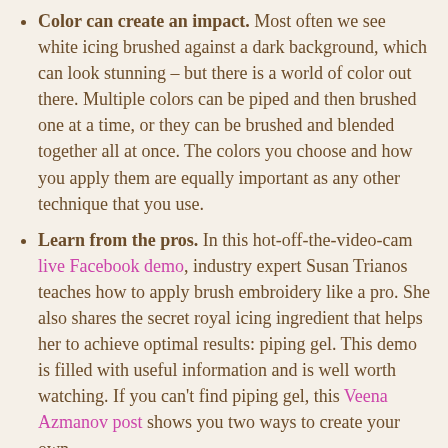Color can create an impact. Most often we see white icing brushed against a dark background, which can look stunning – but there is a world of color out there. Multiple colors can be piped and then brushed one at a time, or they can be brushed and blended together all at once. The colors you choose and how you apply them are equally important as any other technique that you use.
Learn from the pros. In this hot-off-the-video-cam live Facebook demo, industry expert Susan Trianos teaches how to apply brush embroidery like a pro. She also shares the secret royal icing ingredient that helps her to achieve optimal results: piping gel. This demo is filled with useful information and is well worth watching. If you can't find piping gel, this Veena Azmanov post shows you two ways to create your own.
The Challenge